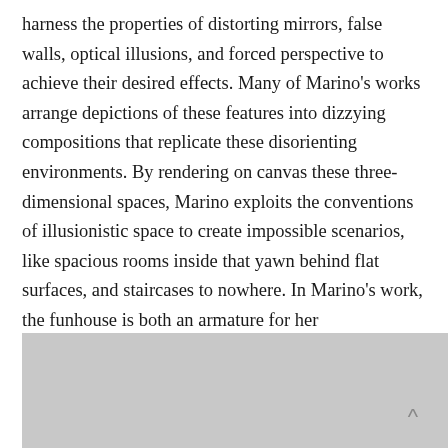harness the properties of distorting mirrors, false walls, optical illusions, and forced perspective to achieve their desired effects. Many of Marino's works arrange depictions of these features into dizzying compositions that replicate these disorienting environments. By rendering on canvas these three- dimensional spaces, Marino exploits the conventions of illusionistic space to create impossible scenarios, like spacious rooms inside that yawn behind flat surfaces, and staircases to nowhere. In Marino's work, the funhouse is both an armature for her compositions, and a metaphor for painting more generally, wherein a set of illusions conspire to create a totalizing experience.
[Figure (photo): Partial view of an image or artwork, light gray background, with a small caret/arrow symbol in the lower right corner.]